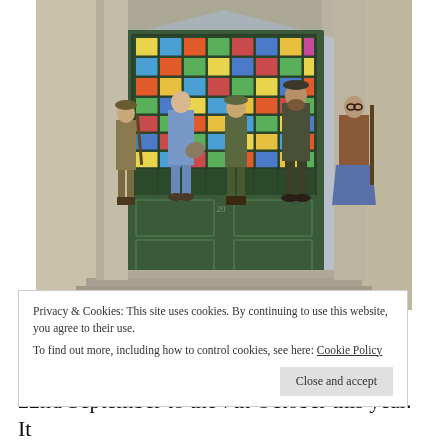[Figure (photo): Five people standing on steps in front of a large green door with colorful stained glass window above. From left: person in WWI military uniform with rifle, person in blue jumpsuit holding megaphone, person in modern military camouflage uniform, bearded man in dark suit, person in layered costume holding a staff. Behind them is a monumental stone building entrance.]
Privacy & Cookies: This site uses cookies. By continuing to use this website, you agree to their use.
To find out more, including how to control cookies, see here: Cookie Policy
Close and accept
22nd September to the 7th October this year. It